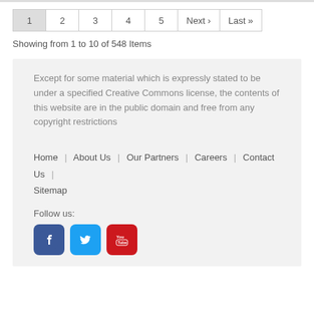1 2 3 4 5 Next › Last »
Showing from 1 to 10 of 548 Items
Except for some material which is expressly stated to be under a specified Creative Commons license, the contents of this website are in the public domain and free from any copyright restrictions
Home | About Us | Our Partners | Careers | Contact Us | Sitemap
Follow us: